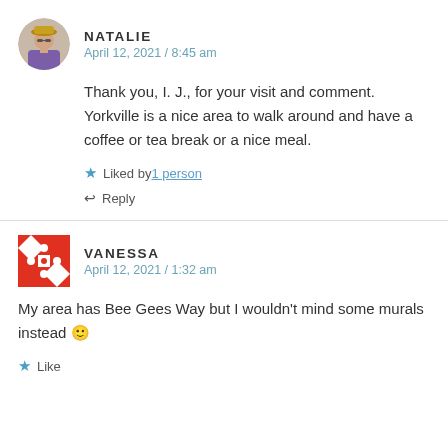NATALIE
April 12, 2021 / 8:45 am
Thank you, I. J., for your visit and comment. Yorkville is a nice area to walk around and have a coffee or tea break or a nice meal.
★ Liked by 1 person
↩ Reply
VANESSA
April 12, 2021 / 1:32 am
My area has Bee Gees Way but I wouldn't mind some murals instead 🙂
★ Like